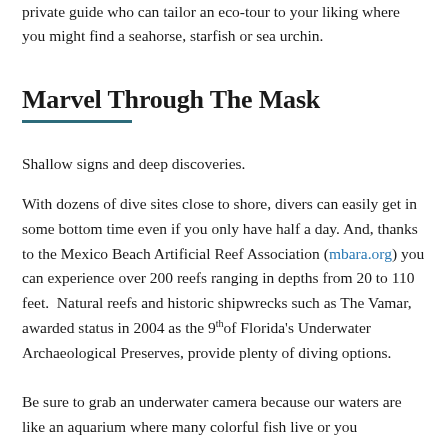private guide who can tailor an eco-tour to your liking where you might find a seahorse, starfish or sea urchin.
Marvel Through The Mask
Shallow signs and deep discoveries.
With dozens of dive sites close to shore, divers can easily get in some bottom time even if you only have half a day. And, thanks to the Mexico Beach Artificial Reef Association (mbara.org) you can experience over 200 reefs ranging in depths from 20 to 110 feet. Natural reefs and historic shipwrecks such as The Vamar, awarded status in 2004 as the 9th of Florida's Underwater Archaeological Preserves, provide plenty of diving options.
Be sure to grab an underwater camera because our waters are like an aquarium where many colorful fish live or you